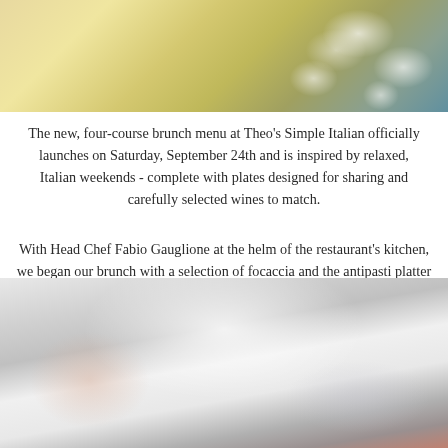[Figure (photo): Top portion of a food/dining photo showing pasta or dough on a yellow background with small white decorative food items]
The new, four-course brunch menu at Theo's Simple Italian officially launches on Saturday, September 24th and is inspired by relaxed, Italian weekends - complete with plates designed for sharing and carefully selected wines to match.
With Head Chef Fabio Gauglione at the helm of the restaurant's kitchen, we began our brunch with a selection of focaccia and the antipasti platter of dreams: the creamiest buffalo mozzarella (that tasted like clouds exploding in my mouth - seriously), marinated artichoke, Prosciutto di Parma, and more.
[Figure (photo): Close-up blurred photo of a white plate with food, likely antipasti platter with some colorful food visible at the bottom edge]